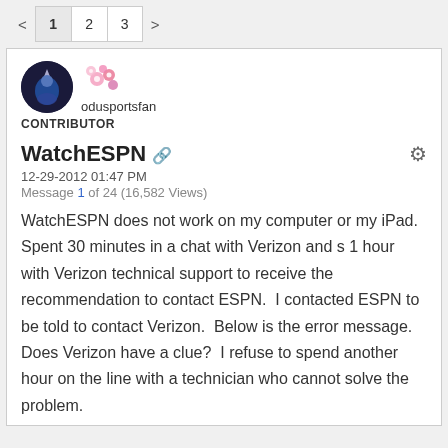< 1 2 3 >
odusportsfan
CONTRIBUTOR
WatchESPN
12-29-2012 01:47 PM
Message 1 of 24 (16,582 Views)
WatchESPN does not work on my computer or my iPad. Spent 30 minutes in a chat with Verizon and s 1 hour with Verizon technical support to receive the recommendation to contact ESPN. I contacted ESPN to be told to contact Verizon. Below is the error message. Does Verizon have a clue? I refuse to spend another hour on the line with a technician who cannot solve the problem.